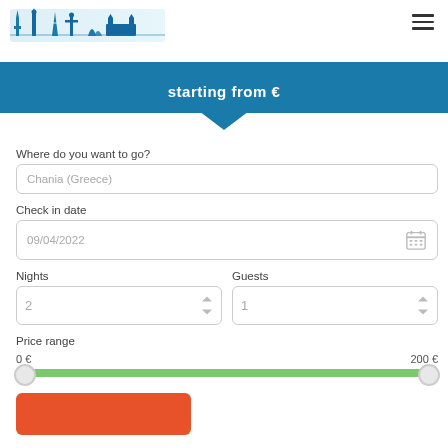[Figure (logo): Hostels Network logo with world landmarks silhouette in blue tones]
starting from €
Where do you want to go?
Chania (Greece)
Check in date
09/04/2022
Nights
2
Guests
1
Price range
0 €
200 €